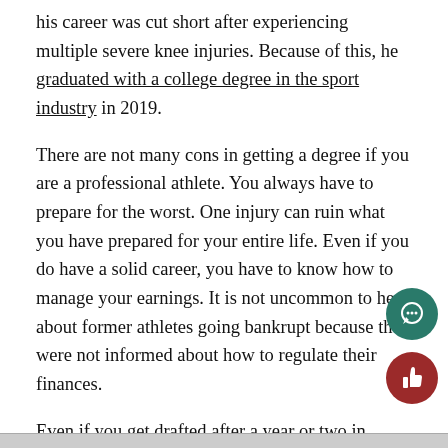his career was cut short after experiencing multiple severe knee injuries. Because of this, he graduated with a college degree in the sport industry in 2019.
There are not many cons in getting a degree if you are a professional athlete. You always have to prepare for the worst. One injury can ruin what you have prepared for your entire life. Even if you do have a solid career, you have to know how to manage your earnings. It is not uncommon to hear about former athletes going bankrupt because they were not informed about how to regulate their finances.
Even if you get drafted after a year or two in college and go straight into a professional league, it is OK to take college classes while in the league. Larry Fitzgerald of the Arizona Cardinals is a future NFL Hall of Famer, but still got his college degree late amid his career. Finishing their college education is going to help these athletes in the long run.